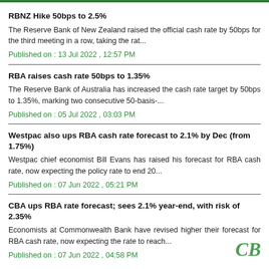RBNZ Hike 50bps to 2.5%
The Reserve Bank of New Zealand raised the official cash rate by 50bps for the third meeting in a row, taking the rat...
Published on : 13 Jul 2022 , 12:57 PM
RBA raises cash rate 50bps to 1.35%
The Reserve Bank of Australia has increased the cash rate target by 50bps to 1.35%, marking two consecutive 50-basis-...
Published on : 05 Jul 2022 , 03:03 PM
Westpac also ups RBA cash rate forecast to 2.1% by Dec (from 1.75%)
Westpac chief economist Bill Evans has raised his forecast for RBA cash rate, now expecting the policy rate to end 20...
Published on : 07 Jun 2022 , 05:21 PM
CBA ups RBA rate forecast; sees 2.1% year-end, with risk of 2.35%
Economists at Commonwealth Bank have revised higher their forecast for RBA cash rate, now expecting the rate to reach...
Published on : 07 Jun 2022 , 04:58 PM
[Figure (logo): CB stylized green cursive logo in bottom right corner]